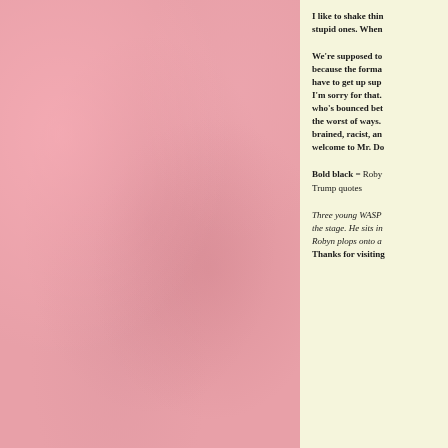[Figure (photo): Pink/rose textured background on the left two-thirds of the page, resembling a mottled, aged paper or fabric texture.]
I like to shake thin stupid ones. When
We're supposed to because the forma have to get up sup I'm sorry for that. who's bounced bet the worst of ways. brained, racist, an welcome to Mr. Do
Bold black = Roby Trump quotes
Three young WASP the stage. He sits in Robyn plops onto a Thanks for visiting